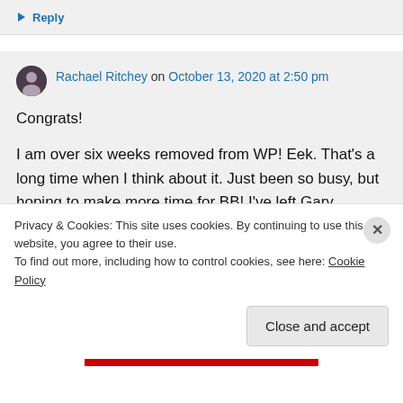Reply
Rachael Ritchey on October 13, 2020 at 2:50 pm
Congrats!
I am over six weeks removed from WP! Eek. That's a long time when I think about it. Just been so busy, but hoping to make more time for BB! I've left Gary holding all
Privacy & Cookies: This site uses cookies. By continuing to use this website, you agree to their use.
To find out more, including how to control cookies, see here: Cookie Policy
Close and accept